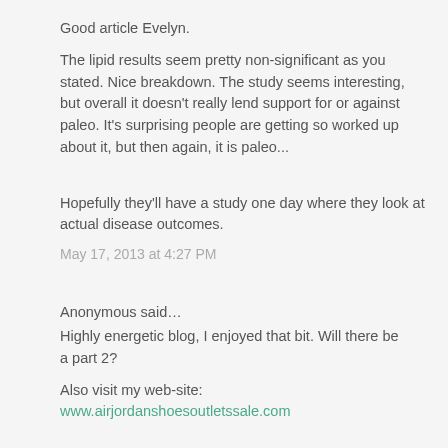Good article Evelyn.
The lipid results seem pretty non-significant as you stated. Nice breakdown. The study seems interesting, but overall it doesn't really lend support for or against paleo. It's surprising people are getting so worked up about it, but then again, it is paleo...
Hopefully they'll have a study one day where they look at actual disease outcomes.
May 17, 2013 at 4:27 PM
Anonymous said…
Highly energetic blog, I enjoyed that bit. Will there be
a part 2?
Also visit my web-site:
www.airjordanshoesoutletssale.com